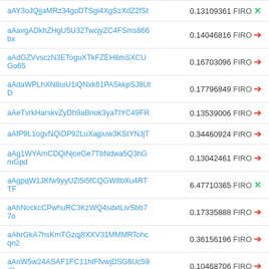| Address | Amount |
| --- | --- |
| aAY3oJQjjaMRz34goDTSgi4XgSzXdZ2fSt | 0.13109361 FIRO ✕ |
| aAavgADkhZHgU5U32TwcjyZC4FSms866bx | 0.14046816 FIRO → |
| aAdGZVvsczN3EToguXTkFZEH8mSXCUGo65 | 0.16703096 FIRO → |
| aAdaWPLhXN8uiU1iQNxk61PASkkpSJ8UtD | 0.17796849 FIRO → |
| aAeTvrkHarskvZyDh9aBnok3yaTtYC49FR | 0.13539006 FIRO → |
| aAfP9L1ogvNQiDP92LuXajpuw3KStYNJjT | 0.34460924 FIRO → |
| aAg1WYAmCDQiNjceGe7TbNdwa5Q3hGmGpd | 0.13042461 FIRO → |
| aAgpqW1JKfw9yyUZi5i5fCQGW8bXu4RTTF | 6.47710365 FIRO ✕ |
| aAhNockcCPwhuRC3KzWQ4sdxtLivSbb77o | 0.17335888 FIRO → |
| aAhrGkA7hsKmTGzqj8XXV31MMMRTohcqn2 | 0.36156196 FIRO → |
| aAnW5w24ASAF1FC11htFfvwjDSG6Uc59rX | 0.10468706 FIRO → |
| aAtZMrg8tvK2sk8UvMrdv1a1B3Rc6iXG2J | 0.19515598 FIRO ✕ |
| aAy9iobe3a8NagCg1hdwydifCyVEeZRCeS | 0.14453072 FIRO → |
| aAyLnXkqX8jqJ9acwKBDpCpQMK4guFrn6B | 0.11609334 FIRO → |
| aAyukaALdBTiXYT1RLWxpRdEk7zGrDuWN6 | 0.14804647 FIRO → |